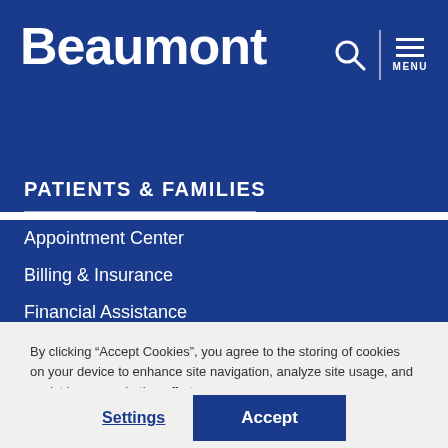[Figure (logo): Beaumont health system logo — white bold text on dark blue background, with search icon and hamburger menu labeled MENU]
PATIENTS & FAMILIES
Appointment Center
Billing & Insurance
Financial Assistance
Find a Doctor
HouseCall Podcast
By clicking “Accept Cookies”, you agree to the storing of cookies on your device to enhance site navigation, analyze site usage, and assist in our marketing efforts.
Settings
Accept